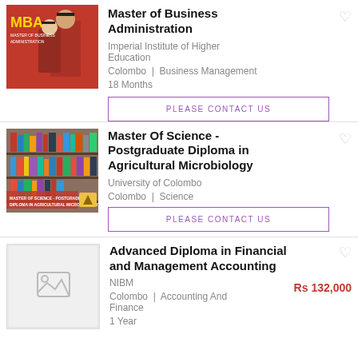[Figure (photo): MBA promotional image with two graduates and red background]
Master of Business Administration
Imperial Institute of Higher Education
Colombo | Business Management
18 Months
PLEASE CONTACT US
[Figure (photo): Library bookshelves image for Agricultural Microbiology course]
Master Of Science - Postgraduate Diploma in Agricultural Microbiology
University of Colombo
Colombo | Science
PLEASE CONTACT US
[Figure (photo): Placeholder image for Advanced Diploma in Financial and Management Accounting]
Advanced Diploma in Financial and Management Accounting
Rs 132,000
NIBM
Colombo | Accounting And Finance
1 Year